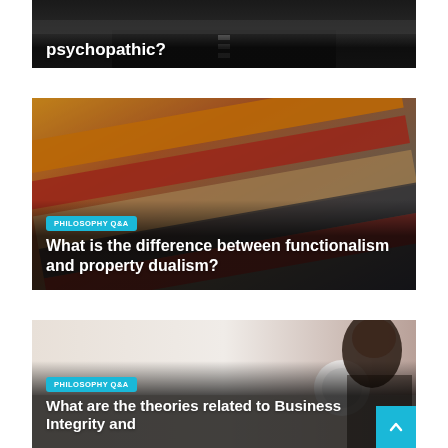[Figure (photo): Dark road image (partially visible at top of page) with white bold text overlay reading 'psychopathic?']
psychopathic?
[Figure (photo): Stack of colorful textbooks/binders photographed from the side, warm orange and red tones]
PHILOSOPHY Q&A
What is the difference between functionalism and property dualism?
[Figure (photo): Person (woman with dark hair) sitting at a desk, light/blurred background]
PHILOSOPHY Q&A
What are the theories related to Business Integrity and